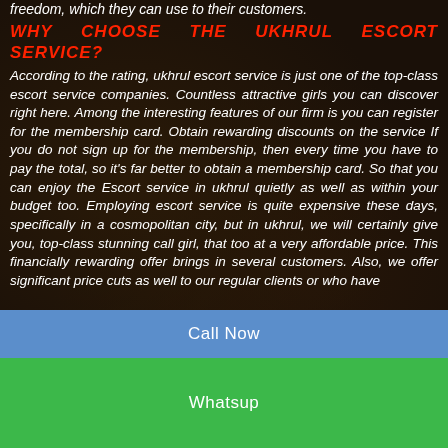freedom, which they can use to their customers.
WHY CHOOSE THE UKHRUL ESCORT SERVICE?
According to the rating, ukhrul escort service is just one of the top-class escort service companies. Countless attractive girls you can discover right here. Among the interesting features of our firm is you can register for the membership card. Obtain rewarding discounts on the service If you do not sign up for the membership, then every time you have to pay the total, so it's far better to obtain a membership card. So that you can enjoy the Escort service in ukhrul quietly as well as within your budget too. Employing escort service is quite expensive these days, specifically in a cosmopolitan city, but in ukhrul, we will certainly give you, top-class stunning call girl, that too at a very affordable price. This financially rewarding offer brings in several customers. Also, we offer significant price cuts as well to our regular clients or who have
Call Now
Whatsup